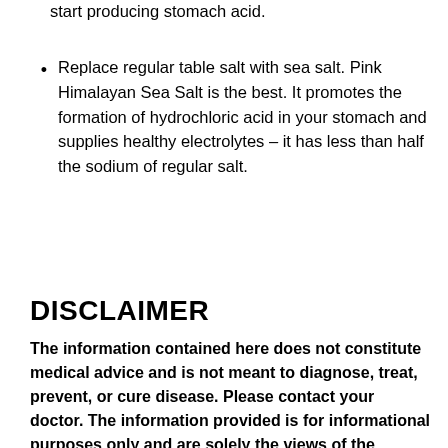start producing stomach acid.
Replace regular table salt with sea salt. Pink Himalayan Sea Salt is the best. It promotes the formation of hydrochloric acid in your stomach and supplies healthy electrolytes – it has less than half the sodium of regular salt.
DISCLAIMER
The information contained here does not constitute medical advice and is not meant to diagnose, treat, prevent, or cure disease. Please contact your doctor. The information provided is for informational purposes only and are solely the views of the author.